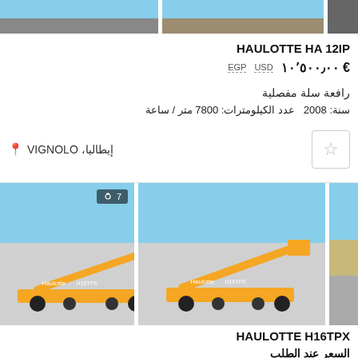[Figure (photo): Top strip with partial images of aerial work platforms]
HAULOTTE HA 12IP
€ ١٠٬٥٠٠٫٠٠  USD  EGP
رافعة سلة مفصلية
سنة: 2008  عدد الكيلومترات: 7800 متر / ساعة
إيطاليا، VIGNOLO
[Figure (photo): Two photos of yellow Haulotte H16TPX articulated boom lift on a construction site]
HAULOTTE H16TPX
السعر عند الطلب